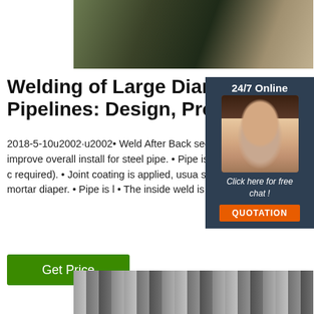[Figure (photo): Close-up photo of a dark pipe surface with textured material]
Welding of Large Diameter Pipelines: Design, Process
2018-5-10u2002·u2002• Weld After Back sequence used to improve overall install for steel pipe. • Pipe is laid and welded c required). • Joint coating is applied, usua shrink sleeve or mortar diaper. • Pipe is l • The inside weld is made later.
[Figure (photo): 24/7 Online chat widget with a smiling woman wearing a headset]
Get Price
[Figure (photo): Interior of a large industrial building or warehouse showing structural steel]